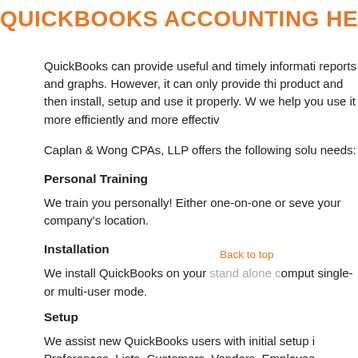QUICKBOOKS ACCOUNTING HELP AND ASS
QuickBooks can provide useful and timely informati reports and graphs. However, it can only provide thi product and then install, setup and use it properly. W we help you use it more efficiently and more effectiv
Caplan & Wong CPAs, LLP offers the following solu needs:
Personal Training
We train you personally! Either one-on-one or seve your company's location.
Installation
We install QuickBooks on your stand alone comput single- or multi-user mode.
Setup
We assist new QuickBooks users with initial setup i Preferences, Lists, Customers, Vendors, Employee experienced users manage their businesses more e